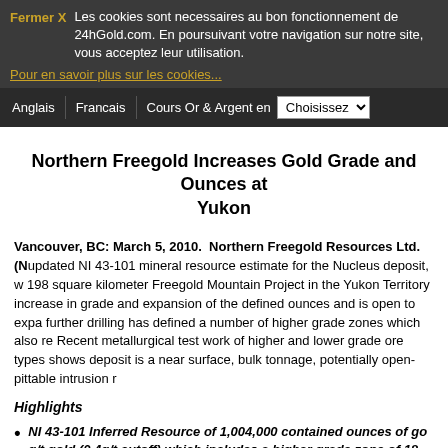Fermer X  Les cookies sont necessaires au bon fonctionnement de 24hGold.com. En poursuivant votre navigation sur notre site, vous acceptez leur utilisation. Pour en savoir plus sur les cookies...
Anglais | Francais | Cours Or & Argent en  Choisissez
Northern Freegold Increases Gold Grade and Ounces at Yukon
Vancouver, BC: March 5, 2010.  Northern Freegold Resources Ltd. (N... updated NI 43-101 mineral resource estimate for the Nucleus deposit, w... 198 square kilometer Freegold Mountain Project in the Yukon Territory... increase in grade and expansion of the defined ounces and is open to expa... further drilling has defined a number of higher grade zones which also re... Recent metallurgical test work of higher and lower grade ore types shows ... deposit is a near surface, bulk tonnage, potentially open-pittable intrusion r...
Highlights
NI 43-101 Inferred Resource of 1,004,000 contained ounces of go... g/t gold (0.4g/t cutoff) which includes a higher grade zone of 18-... 2.2 million tonnes @ 2.55 g/t gold (0.4 g/t cutoff)
The grade of the Nucleus deposit has increased by 32% and the... 31% from the initial NI 43-101 resource estimate released in Jul...